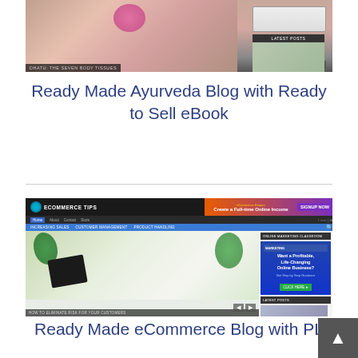[Figure (screenshot): Screenshot of Ayurveda blog website showing a flower/spa image with text 'DHATU: THE SEVEN BODY TISSUES' and a sidebar with LATEST POSTS]
Ready Made Ayurveda Blog with Ready to Sell eBook
[Figure (screenshot): Screenshot of eCommerce Tips blog website showing header with logo and 'Create a Full-time Online Income' banner, navigation with Home/About/Contact/Store, sub-navigation with INCREASING SALES / CUSTOMER MANAGEMENT / PRODUCT HANDLING, main content area with plant/tablet photo and caption 'HOW TO ELIMINATE RISK FOR YOUR CUSTOMERS', sidebar with 'ONLINE MARKETING CLASSROOM' ad asking 'Want a Profitable, Life-Changing Online Business?' with CLICK HERE button and LATEST POSTS section]
Ready Made eCommerce Blog with PL